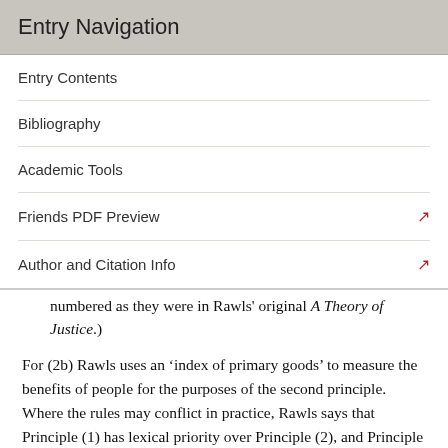Entry Navigation
Entry Contents
Bibliography
Academic Tools
Friends PDF Preview
Author and Citation Info
numbered as they were in Rawls' original A Theory of Justice.)
For (2b) Rawls uses an ‘index of primary goods’ to measure the benefits of people for the purposes of the second principle. Where the rules may conflict in practice, Rawls says that Principle (1) has lexical priority over Principle (2), and Principle (2a) has lexical priority over (2b). As a consequence of the priority rules, Rawls' principles do not permit sacrifices to basic liberties in order to generate greater equality of opportunity or a